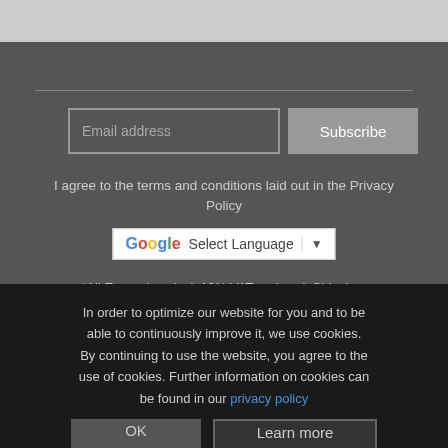[Figure (screenshot): Email subscription form with email address input field and Subscribe button]
I agree to the terms and conditions laid out in the Privacy Policy
[Figure (other): Google Translate language selector widget showing 'Select Language' with dropdown arrow]
*All Euro prices incl. 19% VAT and excl. Shipping. Clients from tax-free countries (e.g. USA) will see net-prices after submitting a valid billing address during checkout. USD prices are for display purposes only.
In order to optimize our website for you and to be able to continuously improve it, we use cookies. By continuing to use the website, you agree to the use of cookies. Further information on cookies can be found in our privacy policy
All prices incl. VAT.
Imprint   Terms   Revocation   Privacy Notice   Affiliate Area   Help